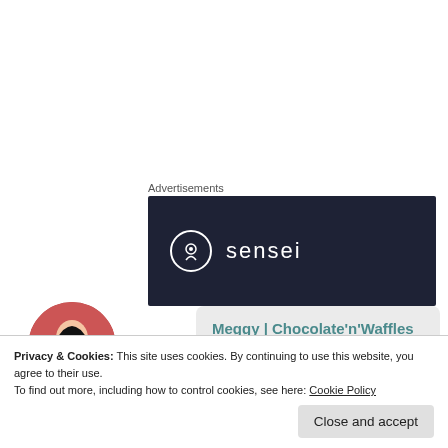Advertisements
[Figure (logo): Sensei brand advertisement banner with dark navy background, circle logo icon, and text 'sensei']
[Figure (photo): Circular avatar photo of a person with dark hair]
Meggy | Chocolate'n'Waffles
August 22, 2017 at 5:33 pm

Welcome back darling!!! We missed you but I am so so happy you had time for yourself and your family. It's so important to switch off...
Privacy & Cookies: This site uses cookies. By continuing to use this website, you agree to their use.
To find out more, including how to control cookies, see here: Cookie Policy
Close and accept